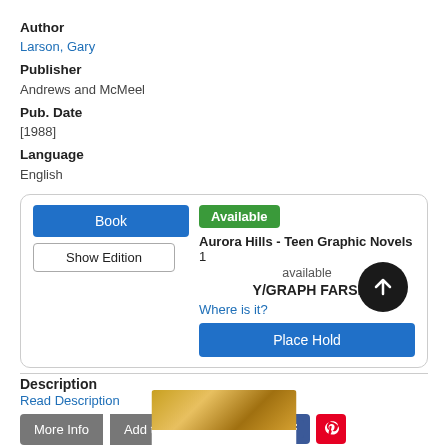Author
Larson, Gary
Publisher
Andrews and McMeel
Pub. Date
[1988]
Language
English
Book | Show Edition | Available | Aurora Hills - Teen Graphic Novels 1 available | Y/GRAPH FARSI | Where is it? | Place Hold
Description
Read Description
More Info | Add to list
[Figure (screenshot): Social share icons: email, Twitter, Facebook, Pinterest. Scroll-to-top button (dark circle with up arrow). Book cover thumbnail at bottom.]